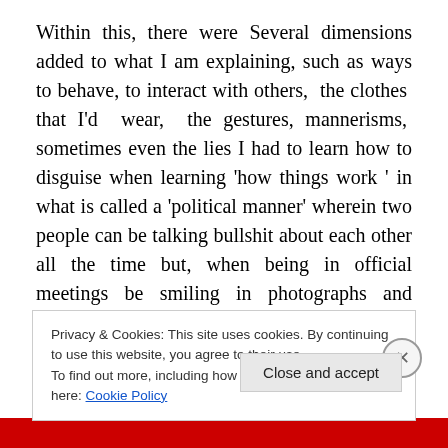Within this, there were Several dimensions added to what I am explaining, such as ways to behave, to interact with others, the clothes that I'd wear, the gestures, mannerisms, sometimes even the lies I had to learn how to disguise when learning 'how things work ' in what is called a 'political manner' wherein two people can be talking bullshit about each other all the time but, when being in official meetings be smiling in photographs and standing next to each other as if nothing happened – and
Privacy & Cookies: This site uses cookies. By continuing to use this website, you agree to their use.
To find out more, including how to control cookies, see here: Cookie Policy
Close and accept